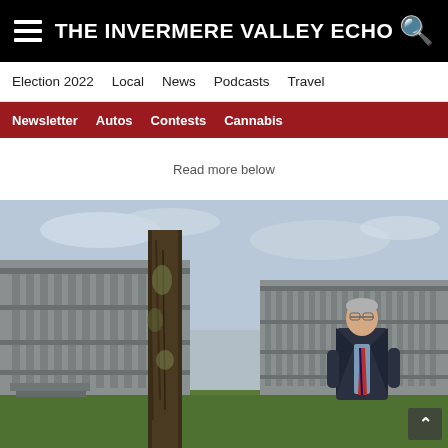THE INVERMERE VALLEY ECHO
Election 2022  Local  News  Podcasts  Travel
Newsletter  Autos  Contests  Cannabis
Read more below
[Figure (photo): A man in a dark coat and striped tie stands in front of a large brutalist-style institutional building with columns. A large tree trunk is in the foreground left. Green lawn visible. Overcast sky.]